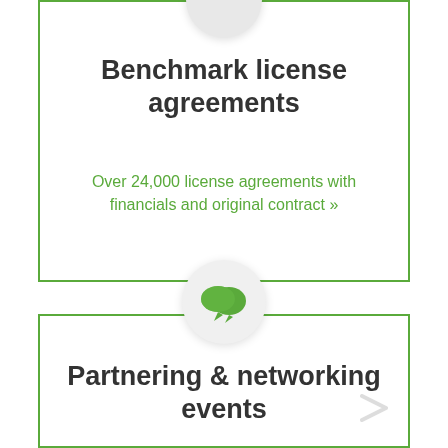Benchmark license agreements
Over 24,000 license agreements with financials and original contract »
[Figure (illustration): Green chat/speech bubble icon in a circular badge]
Partnering & networking events